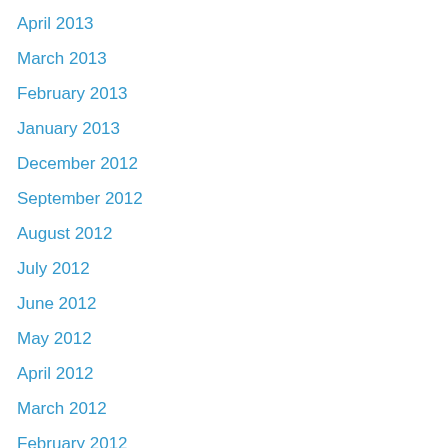April 2013
March 2013
February 2013
January 2013
December 2012
September 2012
August 2012
July 2012
June 2012
May 2012
April 2012
March 2012
February 2012
January 2012
December 2011
October 2011
September 2011
August 2011
June 2011
April 2011